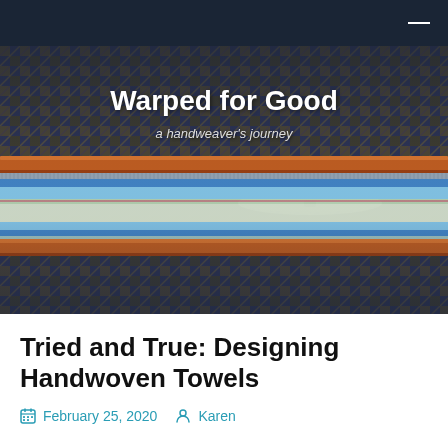Warped for Good — a handweaver's journey
[Figure (photo): Close-up photo of a loom with woven fabric showing a blue and tan/brown twill pattern in the background, and a wooden beam with blue, yellow, and white weft threads being woven in the foreground. A white shuttle is visible resting on the warp threads.]
Tried and True: Designing Handwoven Towels
February 25, 2020   Karen
How do you come up with a design for standout hand towels? Sometimes it's nice to start with someone else's